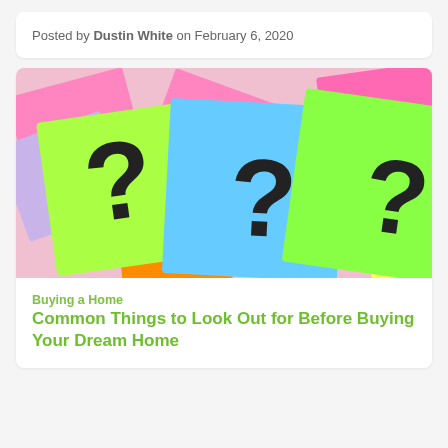Posted by Dustin White on February 6, 2020
[Figure (photo): Colorful sticky notes (green, blue, pink, orange, yellow, purple) piled together, three with large black question marks drawn on them]
Buying a Home
Common Things to Look Out for Before Buying Your Dream Home